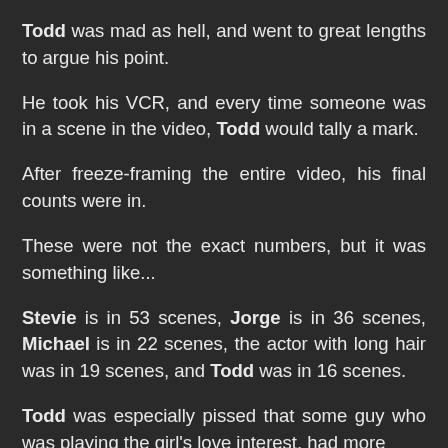Todd was mad as hell, and went to great lengths to argue his point.
He took his VCR, and every time someone was in a scene in the video, Todd would tally a mark.
After freeze-framing the entire video, his final counts were in.
These were not the exact numbers, but it was something like...
Stevie is in 53 scenes, Jorge is in 36 scenes, Michael is in 22 scenes, the actor with long hair was in 19 scenes, and Todd was in 16 scenes.
Todd was especially pissed that some guy who was playing the girl's love interest, had more